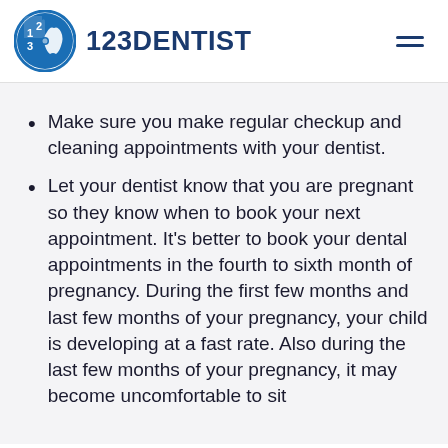123DENTIST
Make sure you make regular checkup and cleaning appointments with your dentist.
Let your dentist know that you are pregnant so they know when to book your next appointment. It’s better to book your dental appointments in the fourth to sixth month of pregnancy. During the first few months and last few months of your pregnancy, your child is developing at a fast rate. Also during the last few months of your pregnancy, it may become uncomfortable to sit